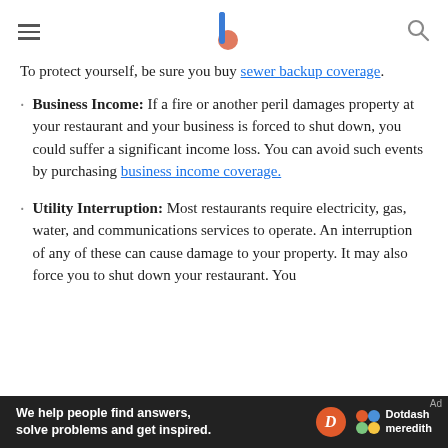[hamburger menu] [logo] [search icon]
To protect yourself, be sure you buy sewer backup coverage.
Business Income: If a fire or another peril damages property at your restaurant and your business is forced to shut down, you could suffer a significant income loss. You can avoid such events by purchasing business income coverage.
Utility Interruption: Most restaurants require electricity, gas, water, and communications services to operate. An interruption of any of these can cause damage to your property. It may also force you to shut down your restaurant. You
Ad — We help people find answers, solve problems and get inspired. [Dotdash Meredith logo]